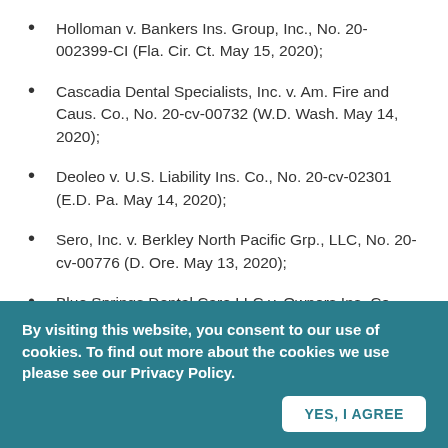Holloman v. Bankers Ins. Group, Inc., No. 20-002399-CI (Fla. Cir. Ct. May 15, 2020);
Cascadia Dental Specialists, Inc. v. Am. Fire and Caus. Co., No. 20-cv-00732 (W.D. Wash. May 14, 2020);
Deoleo v. U.S. Liability Ins. Co., No. 20-cv-02301 (E.D. Pa. May 14, 2020);
Sero, Inc. v. Berkley North Pacific Grp., LLC, No. 20-cv-00776 (D. Ore. May 13, 2020);
Blue Springs Dental Care LLC v. Owners Ins. Co., No. 20-cv-383 (W.D. Mo. May 13, 2020);
Raven and the Bow LLC v. First Mercury Ins., No. 20-cv-03264 (N.D. Cal. May 13, 2020);
By visiting this website, you consent to our use of cookies. To find out more about the cookies we use please see our Privacy Policy.